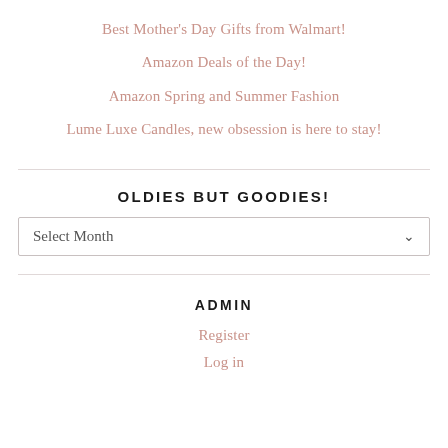Best Mother's Day Gifts from Walmart!
Amazon Deals of the Day!
Amazon Spring and Summer Fashion
Lume Luxe Candles, new obsession is here to stay!
OLDIES BUT GOODIES!
Select Month
ADMIN
Register
Log in